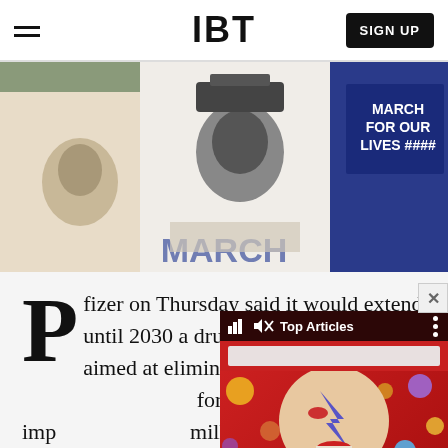IBT
[Figure (photo): Protest photo showing people wearing t-shirts with faces printed on them; a 'MARCH FOR OUR LIVES' sign visible on the right; bottom shows partial 'MARCH' text in blue]
Pfizer on Thursday said it would extend until 2030 a drug donation programme aimed at eliminating trachoma, an eye disease responsible for blinding or visually impairing nearly 2 million people worldwide.
[Figure (screenshot): Video popup overlay showing 'Top Articles' header with bar chart icon and speaker/mute icon, a white progress/search bar, and a colorful image of a Ziggy Stardust / David Bowie-style face against a red background with circles. A close (X) button is visible in the top right.]